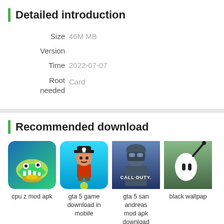Detailed introduction
| Label | Value |
| --- | --- |
| Size | 46M MB |
| Version |  |
| Time | 2022-07-07 |
| Root needed | Card |
Recommended download
[Figure (screenshot): App thumbnail for cpu z mod apk — cartoon shark/monster with fire]
cpu z mod apk
[Figure (screenshot): App thumbnail for gta 5 game download in mobile — pixel pirate character]
gta 5 game download in mobile
[Figure (screenshot): App thumbnail for gta 5 san andreas mod apk download — Call of Duty soldier]
gta 5 san andreas mod apk download
[Figure (screenshot): App thumbnail for black wallpap — green background with white ghost-like figure]
black wallpap